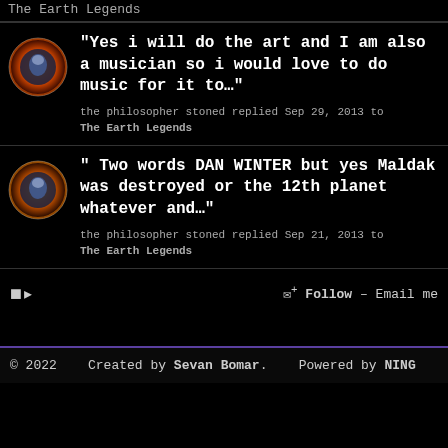The Earth Legends
"Yes i will do the art and I am also a musician so i would love to do music for it to…"
the philosopher stoned replied Sep 29, 2013 to The Earth Legends
" Two words DAN WINTER but yes Maldak was destroyed or the 12th planet whatever and…"
the philosopher stoned replied Sep 21, 2013 to The Earth Legends
⊠ Follow – Email me
© 2022   Created by Sevan Bomar.   Powered by NING